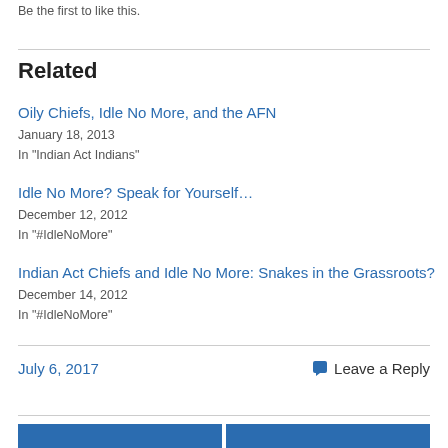Be the first to like this.
Related
Oily Chiefs, Idle No More, and the AFN
January 18, 2013
In "Indian Act Indians"
Idle No More? Speak for Yourself…
December 12, 2012
In "#IdleNoMore"
Indian Act Chiefs and Idle No More: Snakes in the Grassroots?
December 14, 2012
In "#IdleNoMore"
July 6, 2017
Leave a Reply